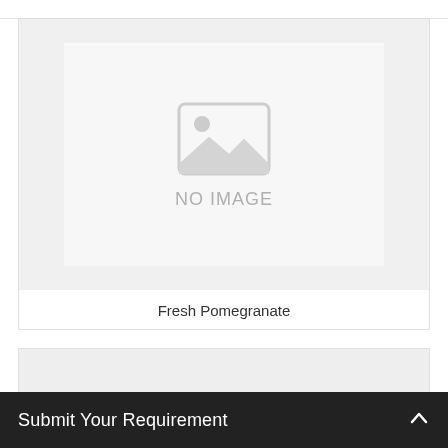[Figure (photo): Product card with no image placeholder showing a mountain/landscape icon and 'NO IMAGE' text, labeled 'Fresh Pomegranate']
Fresh Pomegranate
[Figure (photo): Partial product card visible at bottom, showing grey image area]
Submit Your Requirement